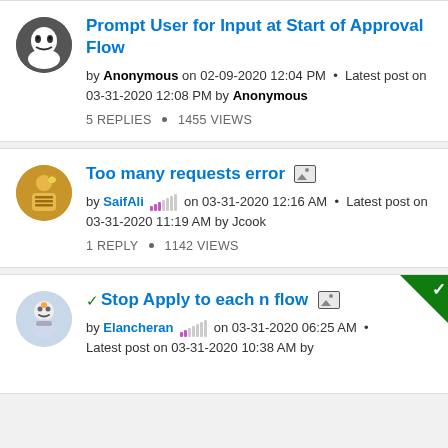Prompt User for Input at Start of Approval Flow — by Anonymous on 02-09-2020 12:04 PM · Latest post on 03-31-2020 12:08 PM by Anonymous — 5 REPLIES · 1455 VIEWS
Too many requests error [image] — by SaifAli on 03-31-2020 12:16 AM · Latest post on 03-31-2020 11:19 AM by Jcook — 1 REPLY · 1142 VIEWS
Stop Apply to each n flow [image] — by Elancheran on 03-31-2020 06:25 AM · Latest post on 03-31-2020 10:38 AM by